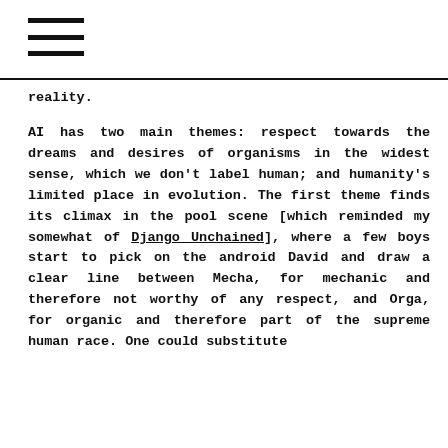≡
reality.
AI has two main themes: respect towards the dreams and desires of organisms in the widest sense, which we don't label human; and humanity's limited place in evolution. The first theme finds its climax in the pool scene [which reminded my somewhat of Django Unchained], where a few boys start to pick on the android David and draw a clear line between Mecha, for mechanic and therefore not worthy of any respect, and Orga, for organic and therefore part of the supreme human race. One could substitute